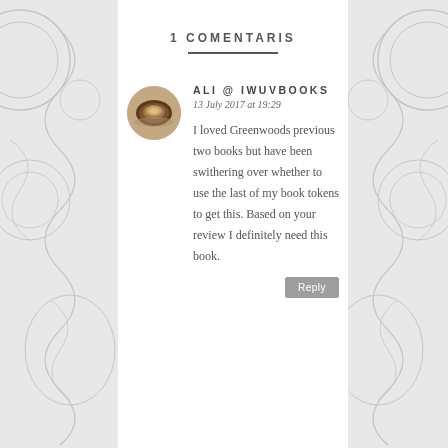1 COMENTARIS
[Figure (photo): Circular avatar photo showing a cup of coffee/tea on a saucer, top-down view with warm brown tones]
ALI @ IWUVBOOKS
13 July 2017 at 19:29
I loved Greenwoods previous two books but have been swithering over whether to use the last of my book tokens to get this. Based on your review I definitely need this book.
Reply